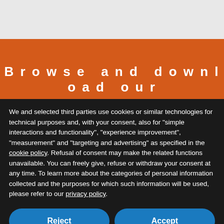[Figure (screenshot): Top gray area representing background of a website behind the cookie consent dialog]
Browse and download our
We and selected third parties use cookies or similar technologies for technical purposes and, with your consent, also for "simple interactions and functionality", "experience improvement", "measurement" and "targeting and advertising" as specified in the cookie policy. Refusal of consent may make the related functions unavailable. You can freely give, refuse or withdraw your consent at any time. To learn more about the categories of personal information collected and the purposes for which such information will be used, please refer to our privacy policy.
Reject
Accept
Learn more and customize